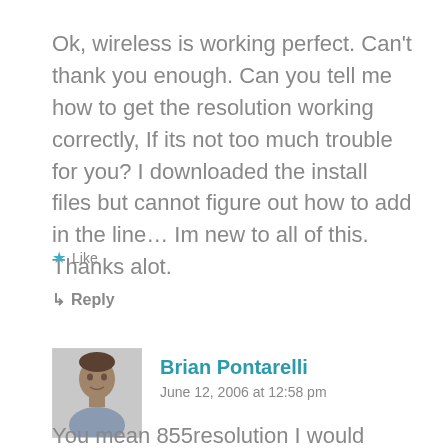Ok, wireless is working perfect. Can't thank you enough. Can you tell me how to get the resolution working correctly, If its not too much trouble for you? I downloaded the install files but cannot figure out how to add in the line… Im new to all of this. Thanks alot.
★ Like
↳ Reply
Brian Pontarelli
June 12, 2006 at 12:58 pm
You mean 855resolution I would assume. This is